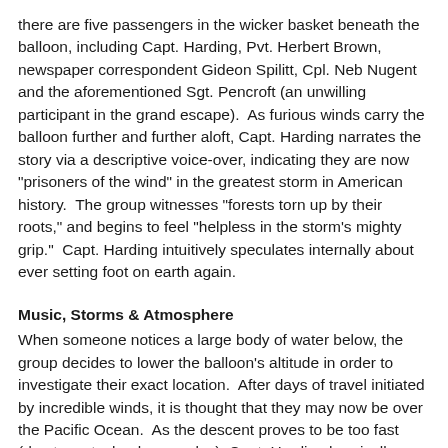there are five passengers in the wicker basket beneath the balloon, including Capt. Harding, Pvt. Herbert Brown, newspaper correspondent Gideon Spilitt, Cpl. Neb Nugent and the aforementioned Sgt. Pencroft (an unwilling participant in the grand escape).  As furious winds carry the balloon further and further aloft, Capt. Harding narrates the story via a descriptive voice-over, indicating they are now "prisoners of the wind" in the greatest storm in American history.  The group witnesses "forests torn up by their roots," and begins to feel "helpless in the storm's mighty grip."  Capt. Harding intuitively speculates internally about ever setting foot on earth again.
Music, Storms & Atmosphere
When someone notices a large body of water below, the group decides to lower the balloon's altitude in order to investigate their exact location.  After days of travel initiated by incredible winds, it is thought that they may now be over the Pacific Ocean.  As the descent proves to be too fast (due to a stuck release valve), Capt. Harding heroically climbs up the craft's rigging to try to stem the rapid fall but manages only to break the valve.  The group is now stuck in mid-air, unable to descend or ascend, frozen at a specific height above the